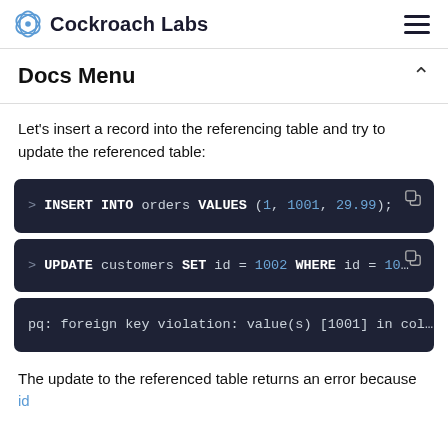Cockroach Labs
Docs Menu
Let's insert a record into the referencing table and try to update the referenced table:
> INSERT INTO orders VALUES (1, 1001, 29.99);
> UPDATE customers SET id = 1002 WHERE id = 10...
pq: foreign key violation: value(s) [1001] in col...
The update to the referenced table returns an error because id